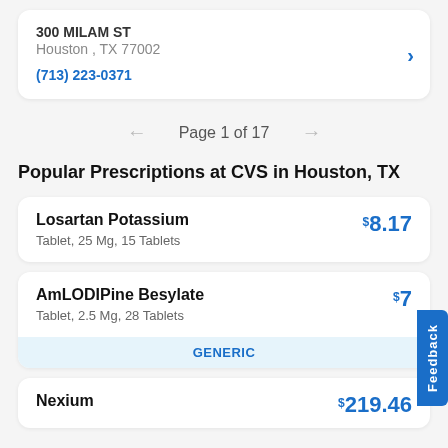300 MILAM ST
Houston, TX 77002
(713) 223-0371
Page 1 of 17
Popular Prescriptions at CVS in Houston, TX
Losartan Potassium
Tablet, 25 Mg, 15 Tablets
$8.17
AmLODIPine Besylate
Tablet, 2.5 Mg, 28 Tablets
$7
GENERIC
Nexium
$219.46